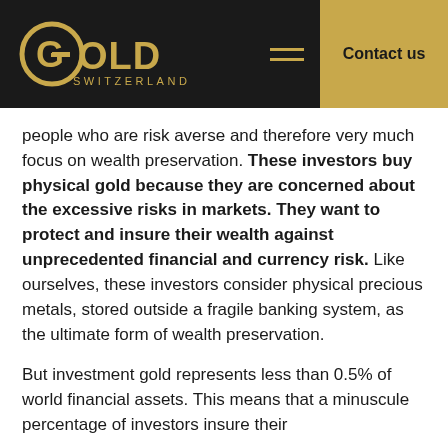GOLD SWITZERLAND | Contact us
people who are risk averse and therefore very much focus on wealth preservation. These investors buy physical gold because they are concerned about the excessive risks in markets. They want to protect and insure their wealth against unprecedented financial and currency risk. Like ourselves, these investors consider physical precious metals, stored outside a fragile banking system, as the ultimate form of wealth preservation.
But investment gold represents less than 0.5% of world financial assets. This means that a minuscule percentage of investors insure their